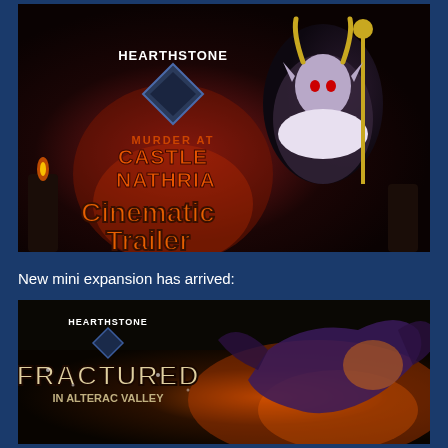[Figure (screenshot): Hearthstone: Murder at Castle Nathria Cinematic Trailer thumbnail. Dark background with the Hearthstone logo and expansion title in orange/red text, and a pale elf-like character with horns on the right side. Bottom text reads 'Cinematic Trailer' in large orange letters.]
New mini expansion has arrived:
[Figure (screenshot): Hearthstone: Fractured in Alterac Valley expansion thumbnail. Dark background with a dragon-like creature and the Hearthstone logo with the expansion title in stylized text.]